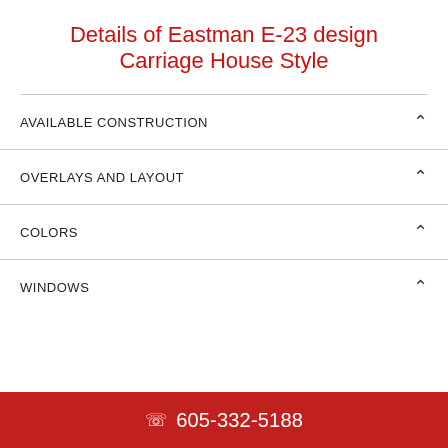Details of Eastman E-23 design
Carriage House Style
AVAILABLE CONSTRUCTION
OVERLAYS AND LAYOUT
COLORS
WINDOWS
605-332-5188